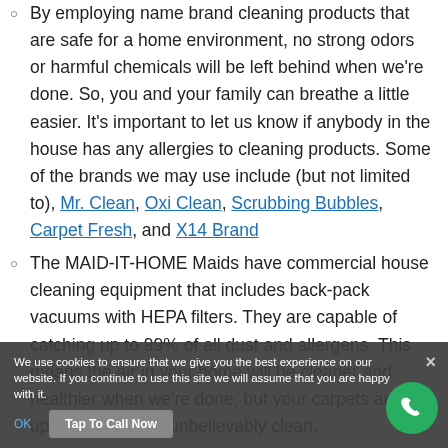By employing name brand cleaning products that are safe for a home environment, no strong odors or harmful chemicals will be left behind when we're done. So, you and your family can breathe a little easier. It's important to let us know if anybody in the house has any allergies to cleaning products. Some of the brands we may use include (but not limited to), Mr. Clean, Oxi Clean, Scrubbing Bubbles, Carpet Fresh, and X14 Brand
The MAID-IT-HOME Maids have commercial house cleaning equipment that includes back-pack vacuums with HEPA filters. They are capable of catching up to 99% of all dust and allergens. This means the air in your home will be cleaner and healthier when we're done, but your carpets and upholstery will be unbelievably clean.
When we bring our professional expertise and magic...
We use cookies to ensure that we give you the best experience on our website. If you continue to use this site we will assume that you are happy with it.